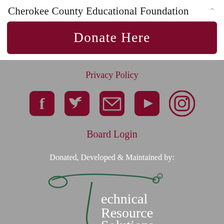Cherokee County Educational Foundation
Donate Here
Privacy Policy
[Figure (other): Row of social media icons: Facebook, Twitter, Email, YouTube, Instagram in dark red/maroon color]
Board Login
Donated, Developed & Maintained by:
[Figure (logo): Technical Resource Solutions LLC logo with dark green needle/thread graphic and text 'Technical Resource Solutions LLC, Est. 2003']